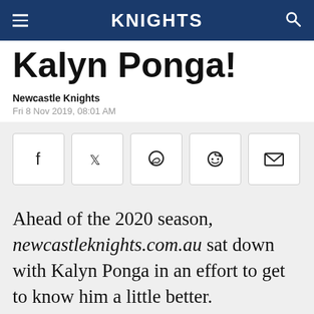KNIGHTS
Kalyn Ponga!
Newcastle Knights
Fri 8 Nov 2019, 08:01 AM
[Figure (other): Social sharing buttons: Facebook, Twitter, WhatsApp, Reddit, Email]
Ahead of the 2020 season, newcastleknights.com.au sat down with Kalyn Ponga in an effort to get to know him a little better.